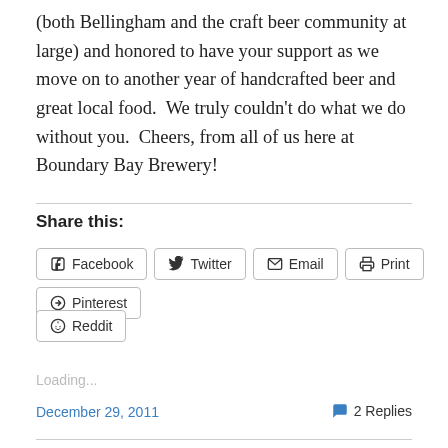(both Bellingham and the craft beer community at large) and honored to have your support as we move on to another year of handcrafted beer and great local food.  We truly couldn't do what we do without you.  Cheers, from all of us here at Boundary Bay Brewery!
Share this:
Facebook  Twitter  Email  Print  Pinterest  Reddit
Loading...
December 29, 2011    2 Replies